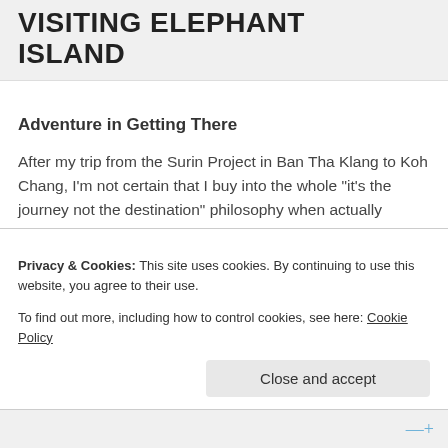VISITING ELEPHANT ISLAND
Adventure in Getting There
After my trip from the Surin Project in Ban Tha Klang to Koh Chang, I'm not certain that I buy into the whole “it’s the journey not the destination” philosophy when actually traveling. On a map, the distance between these two locations is not that far. My mistake was in thinking that there would be an easy route to get between the two. Trusting
Privacy & Cookies: This site uses cookies. By continuing to use this website, you agree to their use.
To find out more, including how to control cookies, see here: Cookie Policy
Close and accept